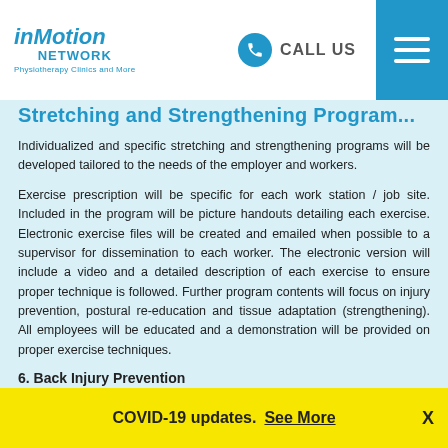inMotion NETWORK Physiotherapy Clinics and More | CALL US
Stretching and Strengthening Program (partial heading)
Individualized and specific stretching and strengthening programs will be developed tailored to the needs of the employer and workers.
Exercise prescription will be specific for each work station / job site. Included in the program will be picture handouts detailing each exercise. Electronic exercise files will be created and emailed when possible to a supervisor for dissemination to each worker. The electronic version will include a video and a detailed description of each exercise to ensure proper technique is followed. Further program contents will focus on injury prevention, postural re-education and tissue adaptation (strengthening). All employees will be educated and a demonstration will be provided on proper exercise techniques.
6. Back Injury Prevention
In today's day and age, information is everywhere, however
COVID-19 updates. See More  X